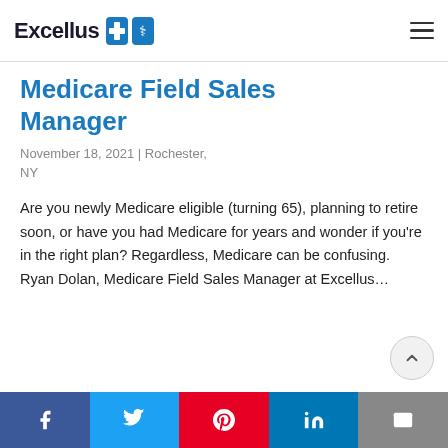Excellus
Medicare Field Sales Manager
November 18, 2021 | Rochester, NY
Are you newly Medicare eligible (turning 65), planning to retire soon, or have you had Medicare for years and wonder if you're in the right plan? Regardless, Medicare can be confusing.  Ryan Dolan, Medicare Field Sales Manager at Excellus…
f  t  p  in  mail